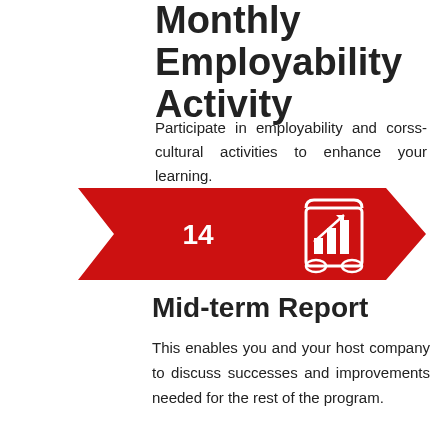Monthly Employability Activity
Participate in employability and corss-cultural activities to enhance your learning.
[Figure (infographic): Red arrow/chevron banner with number 14 on left and a report/chart icon on the right (white line-art scroll with bar chart and arrow).]
Mid-term Report
This enables you and your host company to discuss successes and improvements needed for the rest of the program.